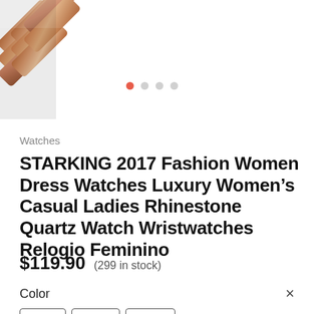[Figure (photo): Close-up of a rose gold/copper-toned watch band links in the upper-left corner of the page]
[Figure (other): Image carousel navigation dots: one red/active dot followed by three grey inactive dots]
Watches
STARKING 2017 Fashion Women Dress Watches Luxury Women’s Casual Ladies Rhinestone Quartz Watch Wristwatches Relogio Feminino
$119.90   (299 in stock)
Color   ×
Gold   Rose   Silver
Gold   Rose   Silver